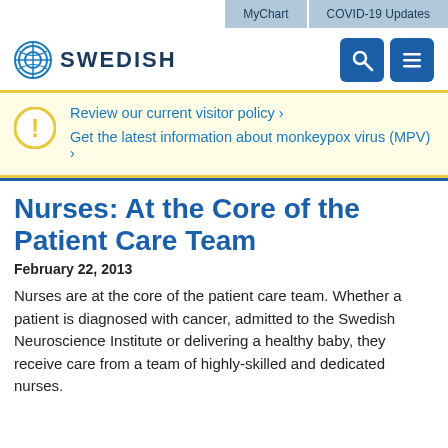MyChart   COVID-19 Updates
[Figure (logo): Swedish health system logo with circular icon and bold SWEDISH text]
Review our current visitor policy ›
Get the latest information about monkeypox virus (MPV) ›
Nurses: At the Core of the Patient Care Team
February 22, 2013
Nurses are at the core of the patient care team. Whether a patient is diagnosed with cancer, admitted to the Swedish Neuroscience Institute or delivering a healthy baby, they receive care from a team of highly-skilled and dedicated nurses.